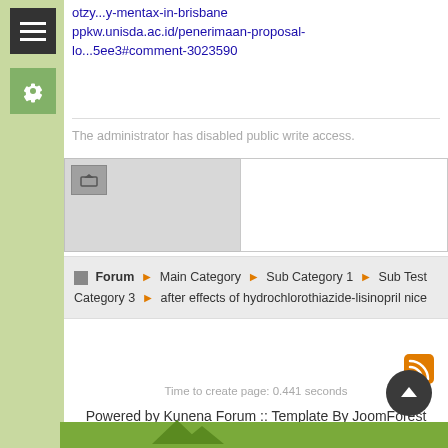otzy...y-mentax-in-brisbane ppkw.unisda.ac.id/penerimaan-proposal-lo...5ee3#comment-3023590
The administrator has disabled public write access.
Forum ▶ Main Category ▶ Sub Category 1 ▶ Sub Test Category 3 ▶ after effects of hydrochlorothiazide-lisinopril nice
Time to create page: 0.441 seconds
Powered by Kunena Forum :: Template By JoomForest